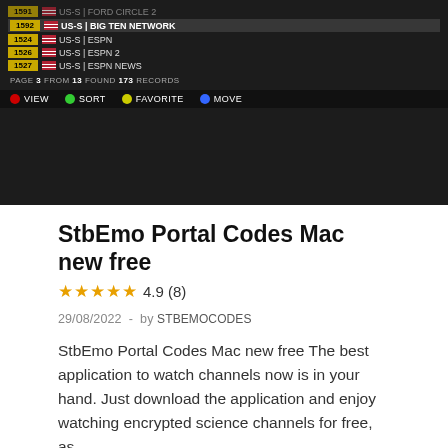[Figure (screenshot): Dark-themed TV channel browser showing US channels including BIG TEN NETWORK, ESPN, ESPN 2, ESPN NEWS with page navigation info and colored button legend (VIEW, SORT, FAVORITE, MOVE)]
StbEmo Portal Codes Mac new free
4.9 (8)
29/08/2022 - by STBEMOCODES
StbEmo Portal Codes Mac new free The best application to watch channels now is in your hand. Just download the application and enjoy watching encrypted science channels for free, as ...
READ MORE
RECENT PAGES